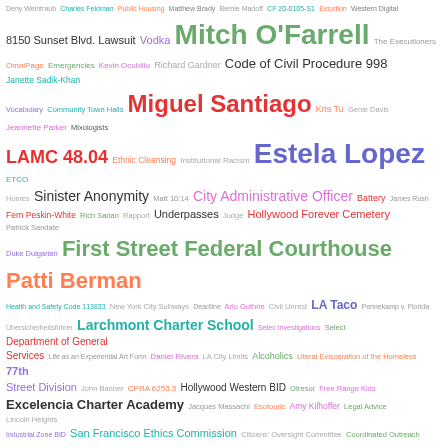[Figure (infographic): Word cloud containing terms related to Los Angeles government, legal proceedings, community organizations, and public figures. Key terms include 'Mitch O'Farrell', 'Miguel Santiago', 'Estela Lopez', 'LAMC 48.04', 'First Street Federal Courthouse', 'Patti Berman', 'Ricardo Lara', 'Ninth Circuit Court of Appeals', 'Board of Directors', 'Taylor Bazley', 'Larchmont Charter School', 'Excelencia Charter Academy', 'San Francisco Ethics Commission', 'Green Gestapo', 'Covert Racism', 'Downtown Berkeley Association', and many others in varying sizes and colors.]